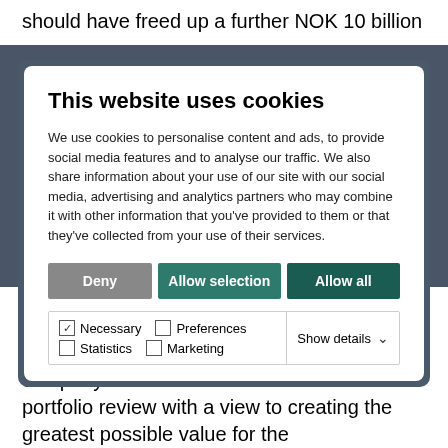should have freed up a further NOK 10 billion
[Figure (screenshot): Cookie consent modal dialog with title 'This website uses cookies', descriptive text about cookie usage, three buttons (Deny, Allow selection, Allow all), and checkboxes for Necessary, Preferences, Statistics, Marketing with a Show details dropdown.]
and Aluminium.
The decision to list Agri as a separate company was the result of an extensive portfolio review with a view to creating the greatest possible value for the